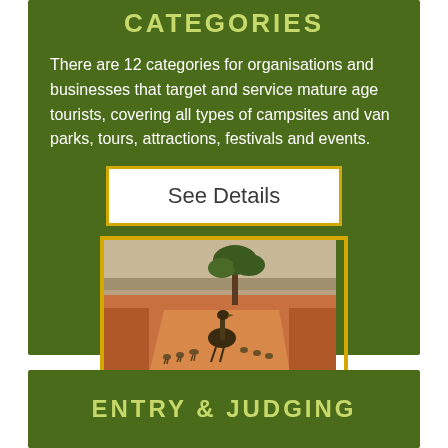CATEGORIES
There are 12 categories for organisations and businesses that target and service mature age tourists, covering all types of campsites and van parks, tours, attractions, festivals and events.
See Details
[Figure (photo): An emu walking across a red dirt outback road with chicks, a tree and arid landscape in the background.]
ENTRY & JUDGING